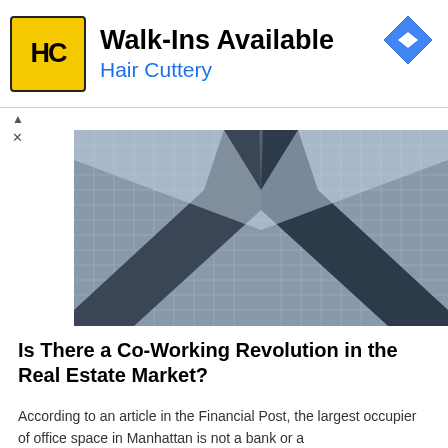[Figure (other): Hair Cuttery advertisement banner with yellow HC logo, text 'Walk-Ins Available' and 'Hair Cuttery', and a blue navigation arrow icon]
[Figure (photo): Looking up view of two glass skyscraper buildings meeting at a sharp triangular corner against a light sky]
Is There a Co-Working Revolution in the Real Estate Market?
According to an article in the Financial Post, the largest occupier of office space in Manhattan is not a bank or a